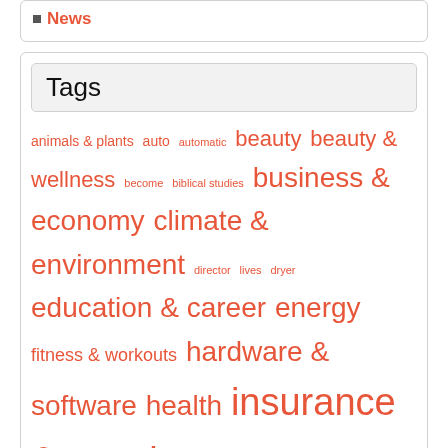News
Tags
animals & plants auto automatic beauty beauty & wellness become biblical studies business & economy climate & environment director lives dryer education & career energy fitness & workouts hardware & software health insurance & pension internet & multimedia it law & taxes love media & communication medicine & surgery money munal nature news other-articles program ps3 psychology relationships research & technology science series services & consulting sex sports trade travel travel hotels turkishpost vacation & tourism